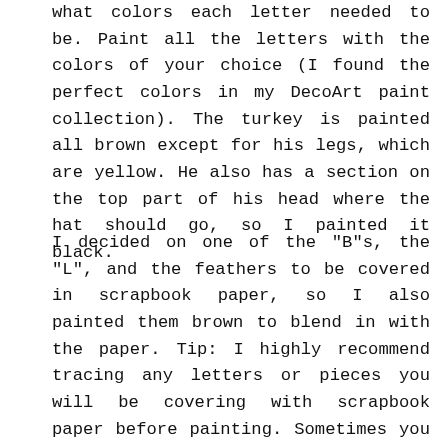what colors each letter needed to be. Paint all the letters with the colors of your choice (I found the perfect colors in my DecoArt paint collection). The turkey is painted all brown except for his legs, which are yellow. He also has a section on the top part of his head where the hat should go, so I painted it black.
I decided on one of the "B"s, the "L", and the feathers to be covered in scrapbook paper, so I also painted them brown to blend in with the paper. Tip: I highly recommend tracing any letters or pieces you will be covering with scrapbook paper before painting. Sometimes you get pencil marks on the letters, so you might as well cover them up with paint!